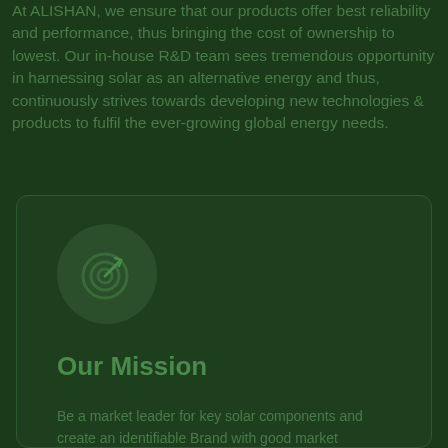At ALISHAN, we ensure that our products offer best reliability and performance, thus bringing the cost of ownership to lowest. Our in-house R&D team sees tremendous opportunity in harnessing solar as an alternative energy and thus, continuously strives towards developing new technologies & products to fulfil the ever-growing global energy needs.
[Figure (illustration): Target/goal icon (bullseye with checkmark arrow) inside a dark green circle]
Our Mission
Be a market leader for key solar components and create an identifiable Brand with good market reputation. We, at Alishan Green Energy